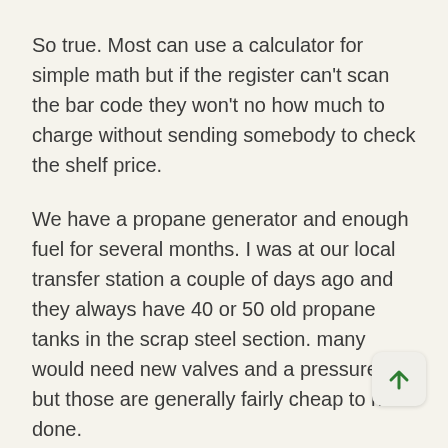So true. Most can use a calculator for simple math but if the register can't scan the bar code they won't no how much to charge without sending somebody to check the shelf price.
We have a propane generator and enough fuel for several months. I was at our local transfer station a couple of days ago and they always have 40 or 50 old propane tanks in the scrap steel section. many would need new valves and a pressure test but those are generally fairly cheap to have done.
I see that violence has broken out in the Caribbean with armed people searching for food and water. Thieves are robbing tourists in their